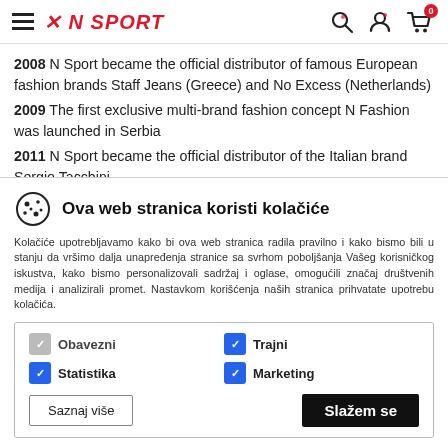N SPORT header with navigation icons
2008 N Sport became the official distributor of famous European fashion brands Staff Jeans (Greece) and No Excess (Netherlands)
2009 The first exclusive multi-brand fashion concept N Fashion was launched in Serbia
2011 N Sport became the official distributor of the Italian brand Sergio Tacchini
2012 N Sport became the official distributor of the sports brand
Ova web stranica koristi kolačiće
Kolačiće upotrebljavamo kako bi ova web stranica radila pravilno i kako bismo bili u stanju da vršimo dalja unapređenja stranice sa svrhom poboljšanja Vašeg korisničkog iskustva, kako bismo personalizovali sadržaj i oglase, omogućili značaj društvenih medija i analizirali promet. Nastavkom korišćenja naših stranica prihvatate upotrebu kolačića.
Obavezni
Trajni
Statistika
Marketing
Saznaj više
Slažem se